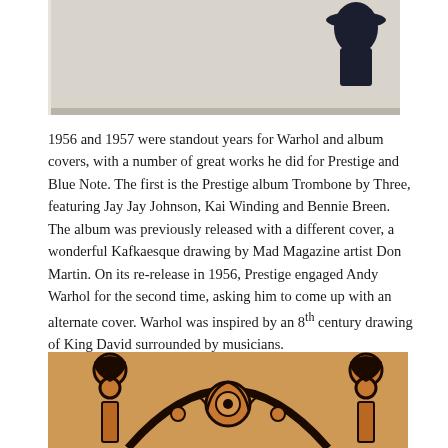[Figure (photo): Top portion of a record album cover or box, light gray/white background with a dark figure illustration in the upper right corner]
1956 and 1957 were standout years for Warhol and album covers, with a number of great works he did for Prestige and Blue Note. The first is the Prestige album Trombone by Three, featuring Jay Jay Johnson, Kai Winding and Bennie Breen. The album was previously released with a different cover, a wonderful Kafkaesque drawing by Mad Magazine artist Don Martin. On its re-release in 1956, Prestige engaged Andy Warhol for the second time, asking him to come up with an alternate cover. Warhol was inspired by an 8th century drawing of King David surrounded by musicians.
[Figure (photo): Detail of an 8th century illuminated manuscript or decorative artwork showing ornate circular designs with scrollwork, floral motifs in orange, red, and black on an aged parchment background]